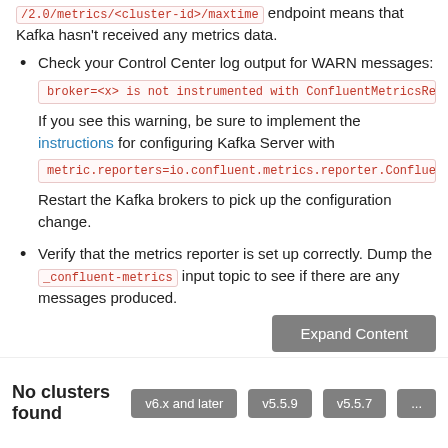/2.0/metrics/<cluster-id>/maxtime endpoint means that Kafka hasn't received any metrics data.
Check your Control Center log output for WARN messages:
broker=<x> is not instrumented with ConfluentMetricsRep
If you see this warning, be sure to implement the instructions for configuring Kafka Server with
metric.reporters=io.confluent.metrics.reporter.Conflue
Restart the Kafka brokers to pick up the configuration change.
Verify that the metrics reporter is set up correctly. Dump the _confluent-metrics input topic to see if there are any messages produced.
Expand Content
No clusters found
v6.x and later  v5.5.9  v5.5.7  ...